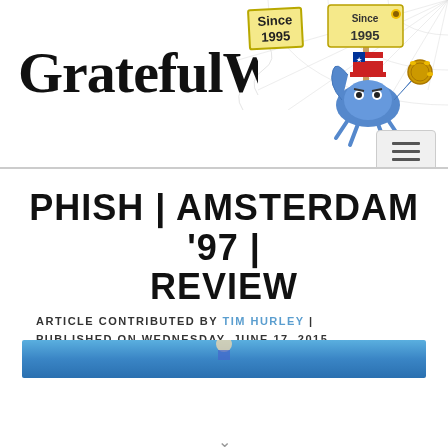[Figure (logo): Grateful Web logo with spider web background, 'Since 1995' sign, cartoon blue crab mascot with American flag hat playing tambourine, and hamburger menu navigation button]
PHISH | AMSTERDAM '97 | REVIEW
ARTICLE CONTRIBUTED BY TIM HURLEY | PUBLISHED ON WEDNESDAY, JUNE 17, 2015
[Figure (photo): Partial photo with blue background, start of article image]